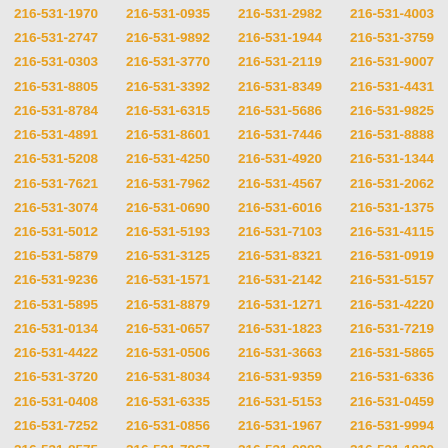216-531-1970 216-531-0935 216-531-2982 216-531-4003 216-531-2747 216-531-9892 216-531-1944 216-531-3759 216-531-0303 216-531-3770 216-531-2119 216-531-9007 216-531-8805 216-531-3392 216-531-8349 216-531-4431 216-531-8784 216-531-6315 216-531-5686 216-531-9825 216-531-4891 216-531-8601 216-531-7446 216-531-8888 216-531-5208 216-531-4250 216-531-4920 216-531-1344 216-531-7621 216-531-7962 216-531-4567 216-531-2062 216-531-3074 216-531-0690 216-531-6016 216-531-1375 216-531-5012 216-531-5193 216-531-7103 216-531-4115 216-531-5879 216-531-3125 216-531-8321 216-531-0919 216-531-9236 216-531-1571 216-531-2142 216-531-5157 216-531-5895 216-531-8879 216-531-1271 216-531-4220 216-531-0134 216-531-0657 216-531-1823 216-531-7219 216-531-4422 216-531-0506 216-531-3663 216-531-5865 216-531-3720 216-531-8034 216-531-9359 216-531-6336 216-531-0408 216-531-6335 216-531-5153 216-531-0459 216-531-7252 216-531-0856 216-531-1967 216-531-9994 216-531-8575 216-531-7967 216-531-0982 216-531-1820 216-531-6088 216-531-1221 216-531-4859 216-531-5391 216-531-6998 216-531-8387 216-531-0660 216-531-9481 216-531-0071 216-531-8810 216-531-6736 216-531-1499 216-531-0488 216-531-7236 216-531-2396 216-531-9017 216-531-2248 216-531-6950 216-531-0471 216-531-2990 216-531-6093 216-531-1732 216-531-5605 216-531-0068 216-531-6669 216-531-3857 216-531-3217 216-531-6024 216-531-9051 216-531-6466 216-531-7989 216-531-1725 216-531-8443 216-531-4180 216-531-9516 216-531-2107 216-531-2892 216-531-0916 216-531-7021 216-531-0302 216-531-8290 216-531-1055 216-531-3023 216-531-6895 216-531-0690 216-531-4827 216-531-5668 216-531-0663